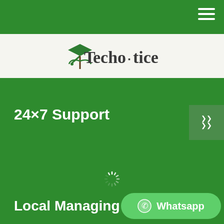Navigation bar with hamburger menu
[Figure (logo): Technotice logo with stylized T and graduation cap icon, brown and green colors on light background]
24×7 Support
[Figure (other): Loading spinner icon in white on green background]
Local Managing D...
[Figure (other): WhatsApp button with circle icon and text 'Whatsapp' in light green rounded rectangle]